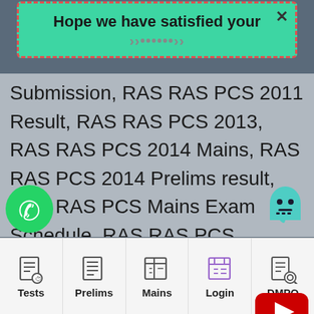[Figure (screenshot): Popup notification bar with teal/green background and red dashed border showing 'Hope we have satisfied your' text with a close X button]
Submission, RAS RAS PCS 2011 Result, RAS RAS PCS 2013, RAS RAS PCS 2014 Mains, RAS RAS PCS 2014 Prelims result, RAS RAS PCS Mains Exam Schedule, RAS RAS PCS Notification Download, RAS RAS PCS Paper I, RAS RAS PCS Paper II Book, RAS RAS PCS Pre RAS RAS PCS Pre 2013, RAS RAS PCS Pre 2013 Exam Date, RAS RAS PCS Pre 2014, RAS RAS PCS Pre BOOK, RAS RAS PCS Pre Date, RAS RAS PCS Pre Exam Date, RAS RAS Pre Questions, RAS RAS PCS
[Figure (logo): YouTube red play button icon floating on right side]
[Figure (logo): WhatsApp green circle icon floating on bottom left]
[Figure (logo): Ghost/chat teal icon floating on bottom right]
Tests | Prelims | Mains | Login | DMPQ